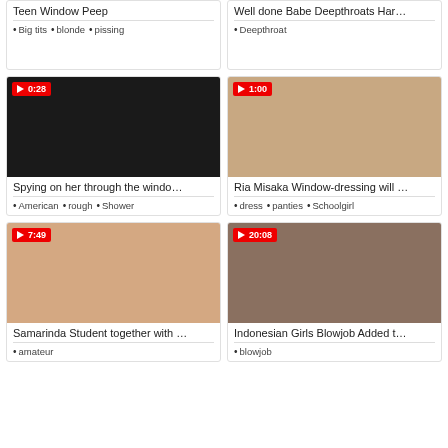[Figure (screenshot): Video thumbnail grid - adult video website with 6 video cards]
Teen Window Peep
Big tits • blonde • pissing
Well done Babe Deepthroats Har…
Deepthroat
[Figure (photo): Dark room spying video thumbnail with duration 0:28]
Spying on her through the windo…
American • rough • Shower
[Figure (photo): Japanese schoolgirl sitting on sofa video thumbnail with duration 1:00]
Ria Misaka Window-dressing will …
dress • panties • Schoolgirl
[Figure (photo): Video thumbnail of two people, duration 7:49]
Samarinda Student together with …
[Figure (photo): Video thumbnail close up, duration 20:08]
Indonesian Girls Blowjob Added t…